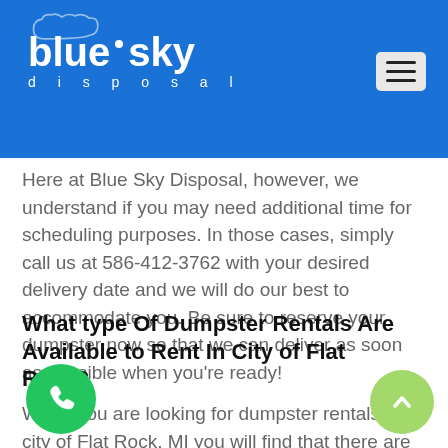blue sky disposal
Here at Blue Sky Disposal, however, we understand if you may need additional time for scheduling purposes. In those cases, simply call us at 586-412-3762 with your desired delivery date and we will do our best to accommodate you. Be sure to reserve your dumpster now so that we can deliver as soon as possible when you're ready!
What type Of Dumpster Rentals Are Available to Rent In City of Flat Rock?
When you are looking for dumpster rentals in city of Flat Rock, MI you will find that there are two main